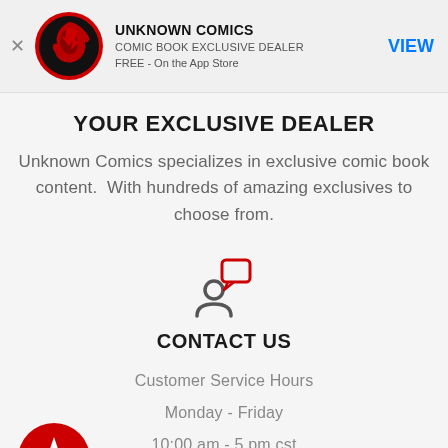[Figure (logo): Unknown Comics app banner with circular red/black logo, title UNKNOWN COMICS, subtitle COMIC BOOK EXCLUSIVE DEALER, FREE - On the App Store, and VIEW button]
YOUR EXCLUSIVE DEALER
Unknown Comics specializes in exclusive comic book content.  With hundreds of amazing exclusives to choose from.
[Figure (illustration): Person with speech bubble icon in gray and red]
CONTACT US
Customer Service Hours
Monday - Friday
10:00 am - 5 pm cst
Help Center
[Figure (illustration): Red circle with white star icon at bottom left]